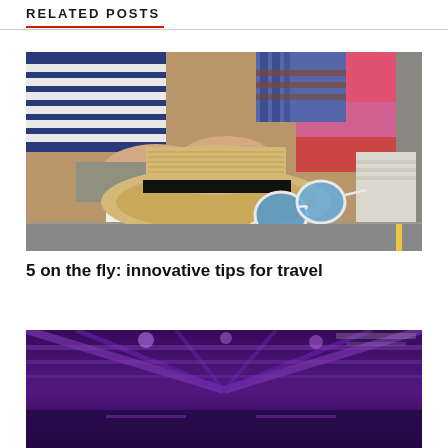RELATED POSTS
[Figure (photo): Person packing a suitcase with clothes, a straw hat with black band, and blue sunglasses on top of folded garments]
5 on the fly: innovative tips for travel
[Figure (photo): Airport terminal interior with purple/violet lighting and structural ceiling visible]